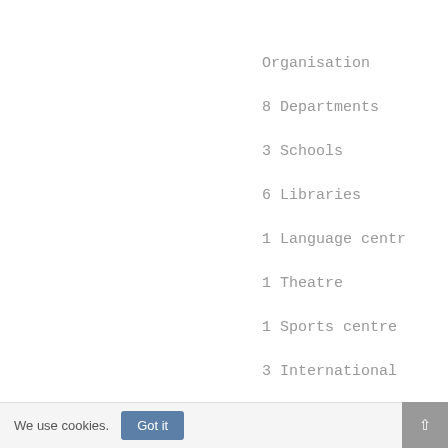Organisation
8 Departments
3 Schools
6 Libraries
1 Language centr
1 Theatre
1 Sports centre
3 International
We use cookies.
Got it